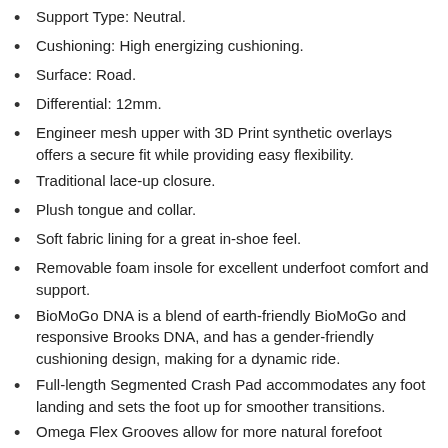Support Type: Neutral.
Cushioning: High energizing cushioning.
Surface: Road.
Differential: 12mm.
Engineer mesh upper with 3D Print synthetic overlays offers a secure fit while providing easy flexibility.
Traditional lace-up closure.
Plush tongue and collar.
Soft fabric lining for a great in-shoe feel.
Removable foam insole for excellent underfoot comfort and support.
BioMoGo DNA is a blend of earth-friendly BioMoGo and responsive Brooks DNA, and has a gender-friendly cushioning design, making for a dynamic ride.
Full-length Segmented Crash Pad accommodates any foot landing and sets the foot up for smoother transitions.
Omega Flex Grooves allow for more natural forefoot movement and fluidity.